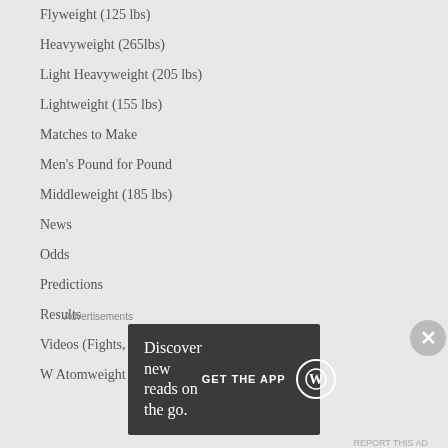Flyweight (125 lbs)
Heavyweight (265lbs)
Light Heavyweight (205 lbs)
Lightweight (155 lbs)
Matches to Make
Men's Pound for Pound
Middleweight (185 lbs)
News
Odds
Predictions
Results
Videos (Fights, Interviews, etc...)
W Atomweight (105 lbs)
Advertisements
[Figure (screenshot): WordPress app advertisement banner: 'Discover new reads on the go.' with GET THE APP button and WordPress logo]
REPORT THIS AD